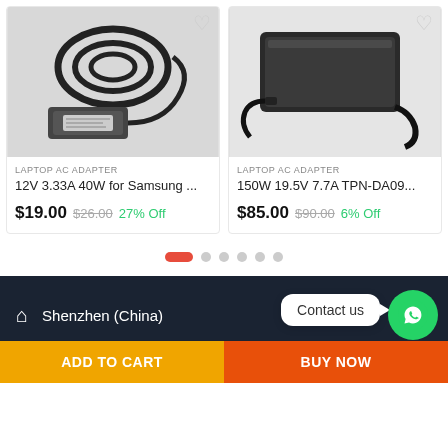[Figure (photo): Photo of a Samsung laptop AC adapter with black cable coiled]
[Figure (photo): Photo of a rectangular black laptop AC adapter with cable]
LAPTOP AC ADAPTER
12V 3.33A 40W for Samsung ...
$19.00  $26.00  27% Off
LAPTOP AC ADAPTER
150W 19.5V 7.7A TPN-DA09...
$85.00  $90.00  6% Off
Shenzhen (China)
Contact us
ADD TO CART
BUY NOW